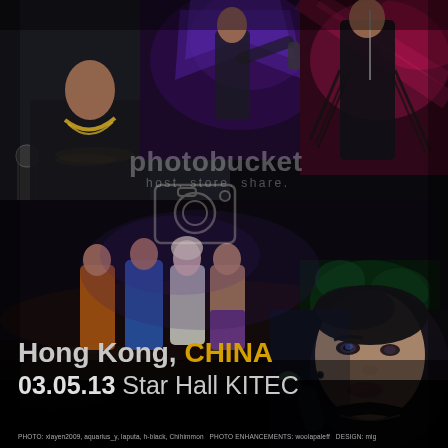[Figure (photo): Concert promotional poster collage showing multiple photos of a male performer (Adam Lambert) singing on stage in various outfits and poses. Top left: close-up with microphone and gold chain necklace in black outfit. Top center: performer on stage with purple/violet graphic backdrop. Top right: performer in black fringe outfit with pink/red lighting. Middle: group of performers on large concert stage with crowd. Bottom right: close-up portrait of male performer with dark hair and eyeliner holding microphone. Photobucket watermark overlay visible in center.]
Hong Kong, CHINA
03.05.13 Star Hall KITEC
PHOTO: xiayen2009, aquarius_y, laputa, h-black, Chihimmon  PHOTO ENHANCEMENTS: woolapaleff  DESIGN: mig